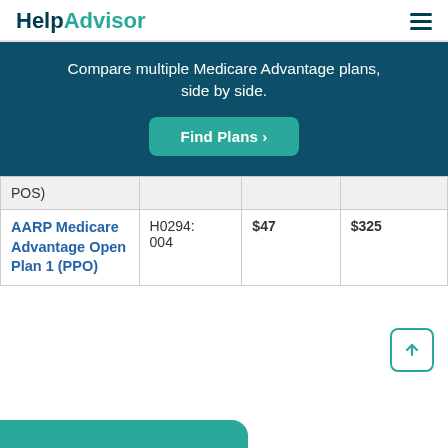HelpAdvisor
Compare multiple Medicare Advantage plans, side by side.
Find Plans >
| Plan Name | Plan ID | Monthly Premium | Deductible |
| --- | --- | --- | --- |
| POS) |  |  |  |
| AARP Medicare Advantage Open Plan 1 (PPO) | H0294: 004 | $47 | $325 |